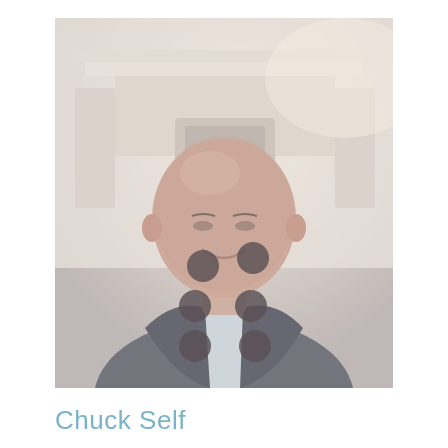[Figure (photo): Portrait photo of a bald, smiling middle-aged man wearing a dark blazer over a light blue shirt, seated in an interior setting with a fireplace mantel in the background. Six dark circular dots are overlaid on the image in a 2-column arrangement across the lower face/chest area.]
Chuck Self